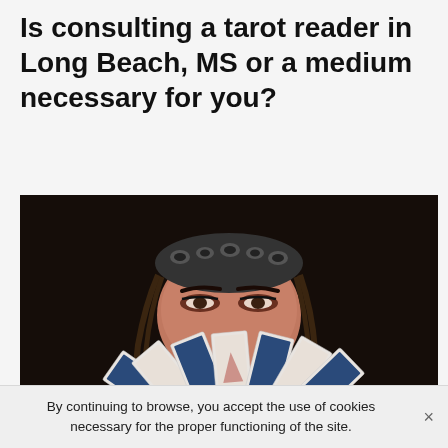Is consulting a tarot reader in Long Beach, MS or a medium necessary for you?
[Figure (photo): A woman wearing a leopard-print headband holding a fan of tarot/playing cards up to cover the lower half of her face, dark background, dramatic lighting illuminating her eyes and the cards.]
By continuing to browse, you accept the use of cookies necessary for the proper functioning of the site.